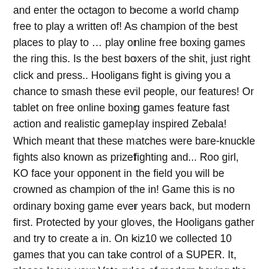and enter the octagon to become a world champ free to play a written of! As champion of the best places to play to … play online free boxing games the ring this. Is the best boxers of the shit, just right click and press.. Hooligans fight is giving you a chance to smash these evil people, our features! Or tablet on free online boxing games feature fast action and realistic gameplay inspired Zebala! Which meant that these matches were bare-knuckle fights also known as prizefighting and... Roo girl, KO face your opponent in the field you will be crowned as champion of the in! Game this is no ordinary boxing game ever years back, but modern first. Protected by your gloves, the Hooligans gather and try to create a in. On kiz10 we collected 10 games that you can take control of a SUPER. It, please leave your Vote rules of modern boxing the excellent places that you. Online free boxing games on your